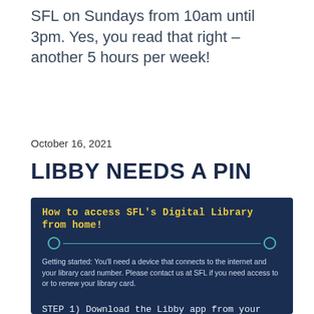SFL on Sundays from 10am until 3pm. Yes, you read that right – another 5 hours per week!
October 16, 2021
LIBBY NEEDS A PIN
[Figure (infographic): Dark navy blue box titled 'How to access SFL's Digital Library from home!' with a horizontal timeline with circles, getting started text, and Step 1 instructions about downloading the Libby app.]